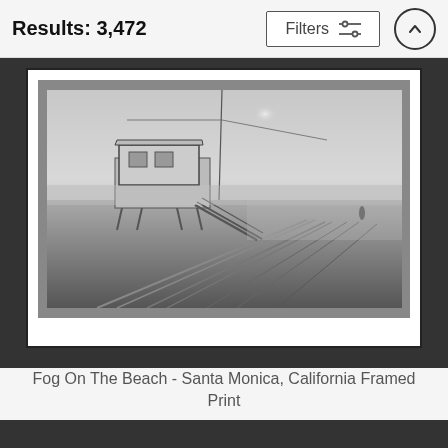Results: 3,472
[Figure (photo): Black and white photograph of a lifeguard station on a foggy Santa Monica beach, with tire tracks receding into the misty distance. Displayed as a framed print with white mat and black frame.]
Fog On The Beach - Santa Monica, California Framed Print
Martin Froyda
$74